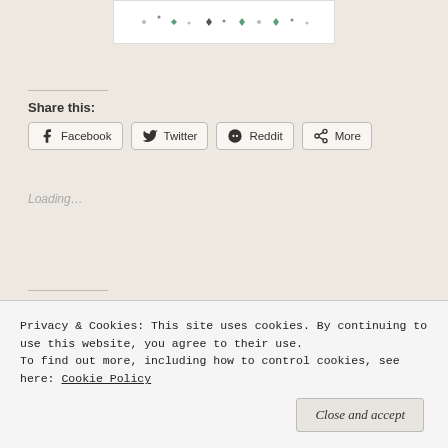[Figure (illustration): Decorative image with dots and diamond shapes on white background]
Share this:
Facebook  Twitter  Reddit  More
Loading…
Related
[Figure (photo): Gluten free baked goods photo]
[Figure (photo): Food photo with yellow/orange items]
May 8, 2020
March 31, 2018
Privacy & Cookies: This site uses cookies. By continuing to use this website, you agree to their use.
To find out more, including how to control cookies, see here: Cookie Policy
Close and accept